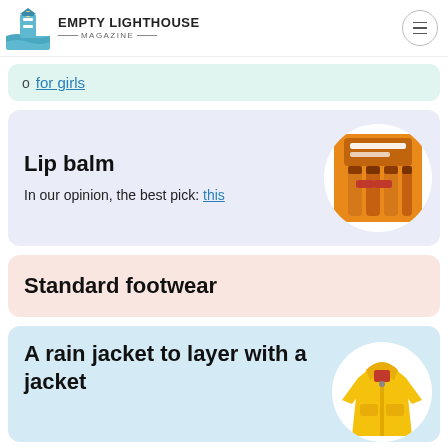EMPTY LIGHTHOUSE MAGAZINE
for girls
Lip balm
In our opinion, the best pick: this
[Figure (photo): O'Keeffe's Lip Repair lip balm product pack — three sticks in orange packaging]
Standard footwear
A rain jacket to layer with a jacket
[Figure (photo): Yellow hooded rain jacket]